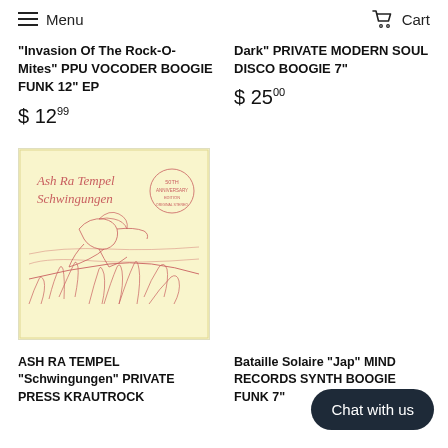Menu   Cart
"Invasion Of The Rock-O-Mites" PPU VOCODER BOOGIE FUNK 12" EP
$ 12.99
Dark" PRIVATE MODERN SOUL DISCO BOOGIE 7"
$ 25.00
[Figure (photo): Album cover for Ash Ra Tempel Schwingungen - yellow/cream background with pink line art of a reclining nude figure surrounded by nature, with a circular badge in the upper right corner]
ASH RA TEMPEL "Schwingungen" PRIVATE PRESS KRAUTROCK
Bataille Solaire "Jap" MIND RECORDS SYNTH BOOGIE FUNK 7"
Chat with us